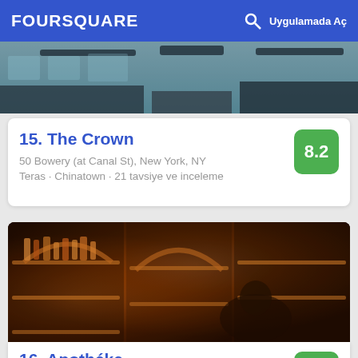FOURSQUARE  Uygulamada Aç
[Figure (photo): Top portion of a venue photo showing an outdoor or rooftop bar/terrace with dark furniture and city views]
15. The Crown
8.2
50 Bowery (at Canal St), New York, NY
Teras · Chinatown · 21 tavsiye ve inceleme
[Figure (photo): Interior of Apothéke bar showing warm amber-lit shelves filled with liquor bottles with arched wooden shelving and a bartender]
16. Apothéke
8.7
9 Doyers St (btwn Pell St & Bowery), New York, NY